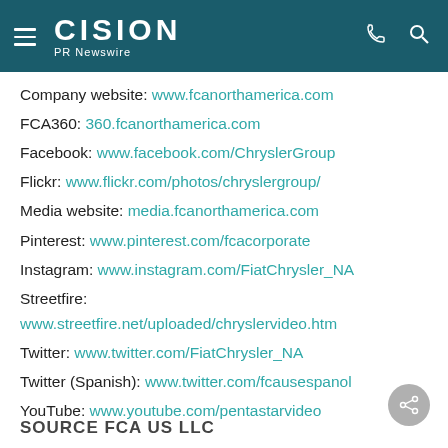CISION PR Newswire
Company website: www.fcanorthamerica.com
FCA360: 360.fcanorthamerica.com
Facebook: www.facebook.com/ChryslerGroup
Flickr: www.flickr.com/photos/chryslergroup/
Media website: media.fcanorthamerica.com
Pinterest: www.pinterest.com/fcacorporate
Instagram: www.instagram.com/FiatChrysler_NA
Streetfire: www.streetfire.net/uploaded/chryslervideo.htm
Twitter: www.twitter.com/FiatChrysler_NA
Twitter (Spanish): www.twitter.com/fcausespanol
YouTube: www.youtube.com/pentastarvideo
SOURCE FCA US LLC